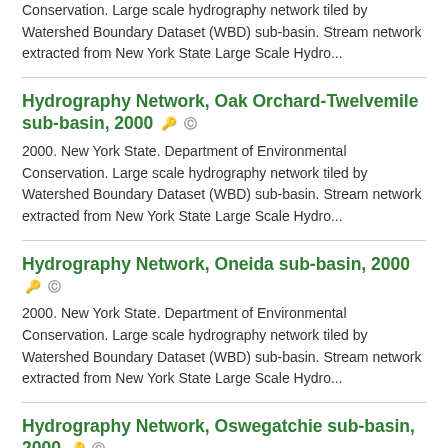Conservation. Large scale hydrography network tiled by Watershed Boundary Dataset (WBD) sub-basin. Stream network extracted from New York State Large Scale Hydro...
Hydrography Network, Oak Orchard-Twelvemile sub-basin, 2000
2000. New York State. Department of Environmental Conservation. Large scale hydrography network tiled by Watershed Boundary Dataset (WBD) sub-basin. Stream network extracted from New York State Large Scale Hydro...
Hydrography Network, Oneida sub-basin, 2000
2000. New York State. Department of Environmental Conservation. Large scale hydrography network tiled by Watershed Boundary Dataset (WBD) sub-basin. Stream network extracted from New York State Large Scale Hydro...
Hydrography Network, Oswegatchie sub-basin, 2000